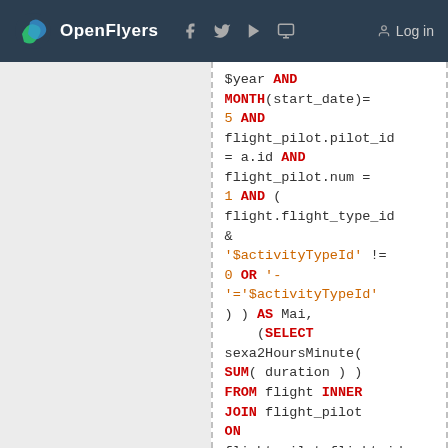OpenFlyers — Log in
[Figure (screenshot): Code snippet showing SQL query fragment with keywords AND, MONTH, FROM, JOIN, WHERE, YEAR, SELECT, SUM in red, numbers and strings in orange, and plain identifiers in dark text.]